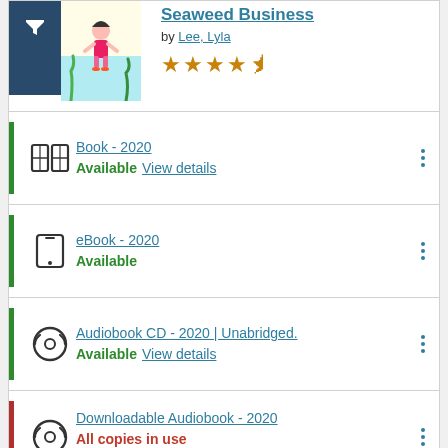Seaweed Business by Lee, Lyla — 4.5 stars
Book - 2020
Available View details
eBook - 2020
Available
Audiobook CD - 2020 | Unabridged.
Available View details
Downloadable Audiobook - 2020
All copies in use
Holds: 0 on 1 copy